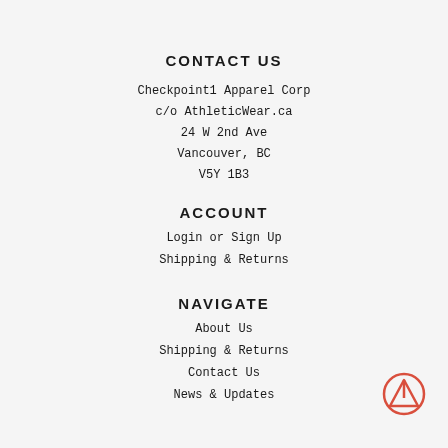CONTACT US
Checkpoint1 Apparel Corp
c/o AthleticWear.ca
24 W 2nd Ave
Vancouver, BC
V5Y 1B3
ACCOUNT
Login or Sign Up
Shipping & Returns
NAVIGATE
About Us
Shipping & Returns
Contact Us
News & Updates
[Figure (logo): Checkpoint1 logo: circle with upward-pointing triangle/arrow inside, in red/coral color]